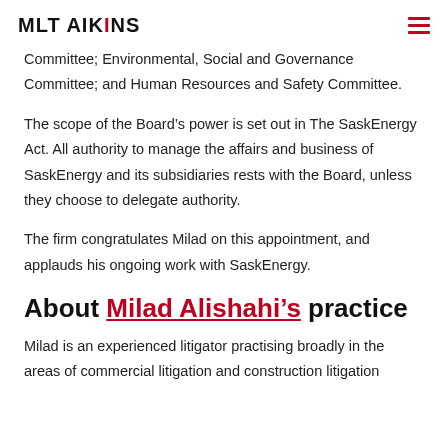MLT AIKINS
Committee; Environmental, Social and Governance Committee; and Human Resources and Safety Committee.
The scope of the Board’s power is set out in The SaskEnergy Act. All authority to manage the affairs and business of SaskEnergy and its subsidiaries rests with the Board, unless they choose to delegate authority.
The firm congratulates Milad on this appointment, and applauds his ongoing work with SaskEnergy.
About Milad Alishahi’s practice
Milad is an experienced litigator practising broadly in the areas of commercial litigation and construction litigation